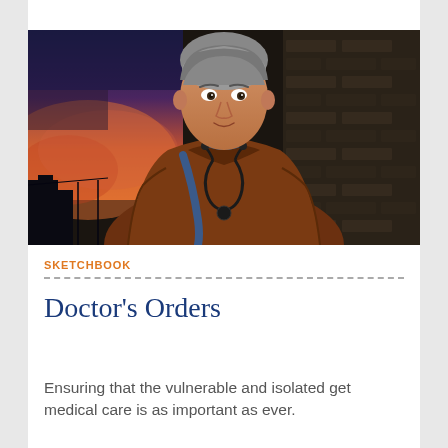[Figure (photo): Portrait photo of a middle-aged man with gray hair wearing a brown leather jacket and a blue shirt with a stethoscope around his neck, standing in front of a brick wall with a colorful sunset sky in the background.]
SKETCHBOOK
Doctor's Orders
Ensuring that the vulnerable and isolated get medical care is as important as ever.